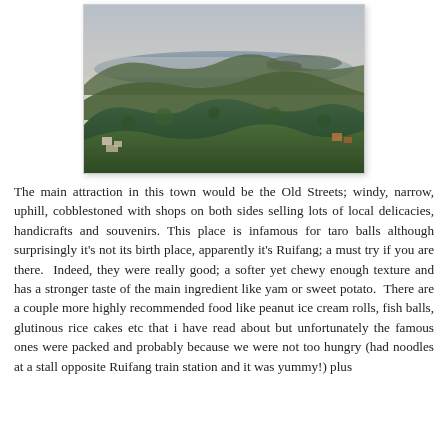[Figure (photo): Aerial/elevated view of a mountainous green hillside town with ocean and islands visible in the misty background at dusk or dawn. Buildings visible at the lower parts of the hills.]
The main attraction in this town would be the Old Streets; windy, narrow, uphill, cobblestoned with shops on both sides selling lots of local delicacies, handicrafts and souvenirs. This place is infamous for taro balls although surprisingly it's not its birth place, apparently it's Ruifang; a must try if you are there. Indeed, they were really good; a softer yet chewy enough texture and has a stronger taste of the main ingredient like yam or sweet potato. There are a couple more highly recommended food like peanut ice cream rolls, fish balls, glutinous rice cakes etc that i have read about but unfortunately the famous ones were packed and probably because we were not too hungry (had noodles at a stall opposite Ruifang train station and it was yummy!) plus